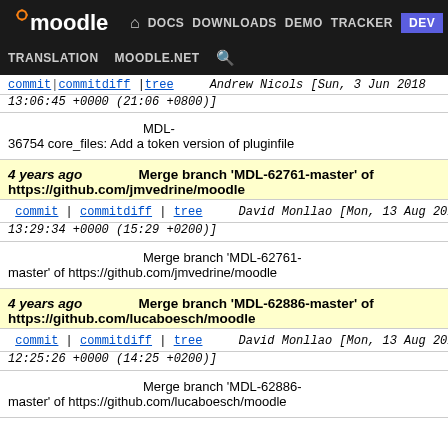Moodle navigation bar: DOCS DOWNLOADS DEMO TRACKER DEV | TRANSLATION MOODLE.NET search
commit | commitdiff | tree   Andrew Nicols [Sun, 3 Jun 2018 13:06:45 +0000 (21:06 +0800)]
MDL-36754 core_files: Add a token version of pluginfile
4 years ago   Merge branch 'MDL-62761-master' of https://github.com/jmvedrine/moodle
commit | commitdiff | tree   David Monllao [Mon, 13 Aug 2018 13:29:34 +0000 (15:29 +0200)]
Merge branch 'MDL-62761-master' of https://github.com/jmvedrine/moodle
4 years ago   Merge branch 'MDL-62886-master' of https://github.com/lucaboesch/moodle
commit | commitdiff | tree   David Monllao [Mon, 13 Aug 2018 12:25:26 +0000 (14:25 +0200)]
Merge branch 'MDL-62886-master' of https://github.com/lucaboesch/moodle